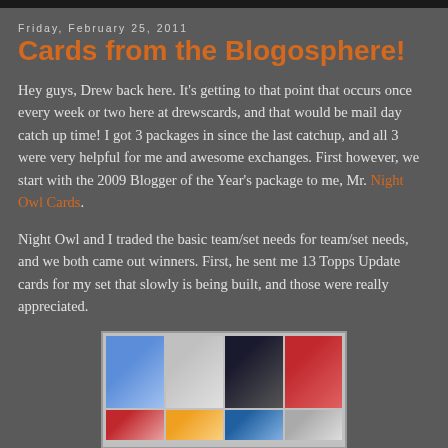Friday, February 25, 2011
Cards from the Blogosphere!
Hey guys, Drew back here. It's getting to that point that occurs once every week or two here at drewscards, and that would be mail day catch up time! I got 3 packages in since the last catchup, and all 3 were very helpful for me and awesome exchanges. First however, we start with the 2009 Blogger of the Year's package to me, Mr. Night Owl Cards.
Night Owl and I traded the basic team/set needs for team/set needs, and we both came out winners. First, he sent me 13 Topps Update cards for my set that slowly is being built, and those were really appreciated.
[Figure (photo): Four baseball cards showing players in action, partially cut off at bottom showing two more cards]